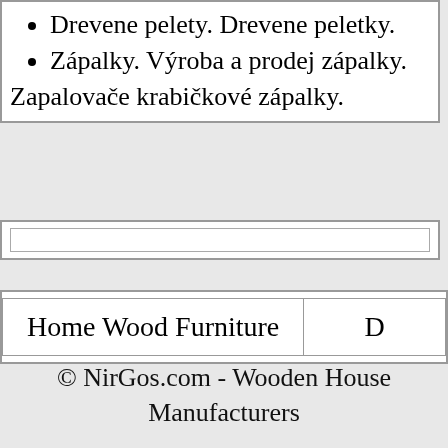Drevene pelety. Drevene peletky.
Zápalky. Výroba a prodej zápalky. Zapalovače krabičkové zápalky.
| Home Wood Furniture |  |
| --- | --- |
© NirGos.com - Wooden House Manufacturers